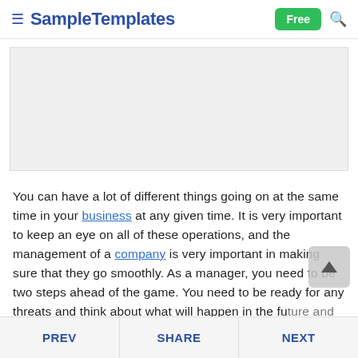SampleTemplates | Free
[Figure (other): Advertisement or image placeholder area, light gray rectangle]
You can have a lot of different things going on at the same time in your business at any given time. It is very important to keep an eye on all of these operations, and the management of a company is very important in making sure that they go smoothly. As a manager, you need to be two steps ahead of the game. You need to be ready for any threats and think about what will happen in the future and protect this company and take...
PREV  SHARE  NEXT